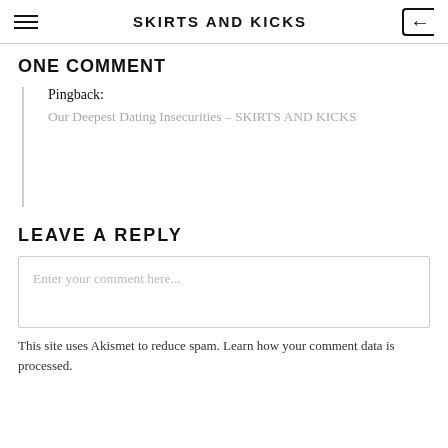SKIRTS AND KICKS
ONE COMMENT
Pingback: Our Deepest Dating Insecurities – SKIRTS AND KICKS
LEAVE A REPLY
Enter your comment here...
This site uses Akismet to reduce spam. Learn how your comment data is processed.